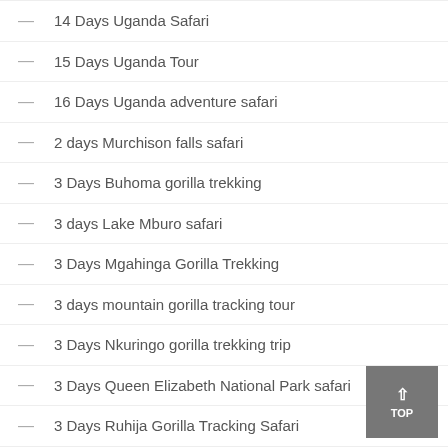14 Days Uganda Safari
15 Days Uganda Tour
16 Days Uganda adventure safari
2 days Murchison falls safari
3 Days Buhoma gorilla trekking
3 days Lake Mburo safari
3 Days Mgahinga Gorilla Trekking
3 days mountain gorilla tracking tour
3 Days Nkuringo gorilla trekking trip
3 Days Queen Elizabeth National Park safari
3 Days Ruhija Gorilla Tracking Safari
3 days Rushaga gorilla trekking trip
4 Days Mountain Gorilla Habituation Trip
5 Days gorilla and wildlife safari